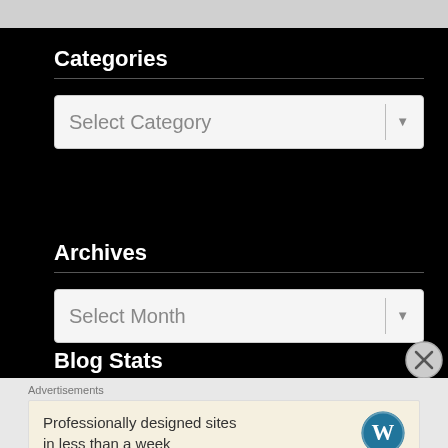Categories
[Figure (screenshot): Dropdown select box with placeholder text 'Select Category' and a dropdown arrow]
Archives
[Figure (screenshot): Dropdown select box with placeholder text 'Select Month' and a dropdown arrow]
Blog Stats
Advertisements
Professionally designed sites in less than a week